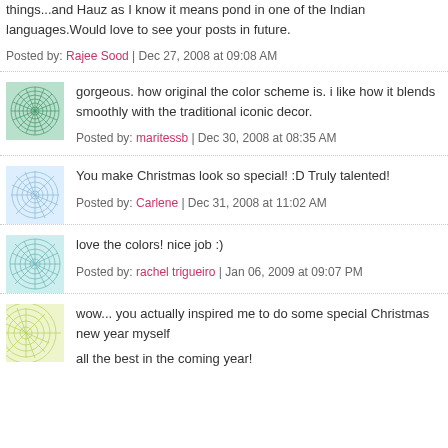things...and Hauz as I know it means pond in one of the Indian languages.Would love to see your posts in future.
Posted by: Rajee Sood | Dec 27, 2008 at 09:08 AM
gorgeous. how original the color scheme is. i like how it blends smoothly with the traditional iconic decor.
Posted by: maritessb | Dec 30, 2008 at 08:35 AM
You make Christmas look so special! :D Truly talented!
Posted by: Carlene | Dec 31, 2008 at 11:02 AM
love the colors! nice job :)
Posted by: rachel trigueiro | Jan 06, 2009 at 09:07 PM
wow... you actually inspired me to do some special Christmas new year myself
all the best in the coming year!